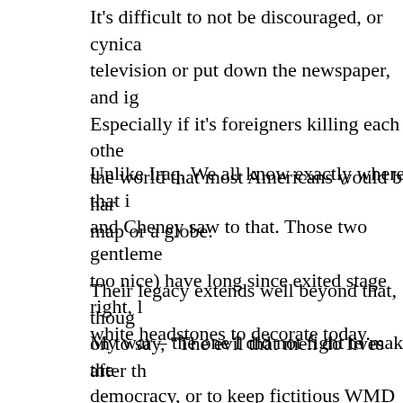It’s difficult to not be discouraged, or cynica television or put down the newspaper, and ig Especially if it’s foreigners killing each othe the world that most Americans would be ha map or a globe.
Unlike Iraq. We all know exactly where that i and Cheney saw to that. Those two gentleme too nice) have long since exited stage right, l white headstones to decorate today.
Their legacy extends well beyond that, thou on to say, “The evil that men do lives after th
My war – the one I did not fight to make the democracy, or to keep fictitious WMD out of took place over forty years ago. I bet you can now. Having survived that war, and its own someone who cannot put down the paper an